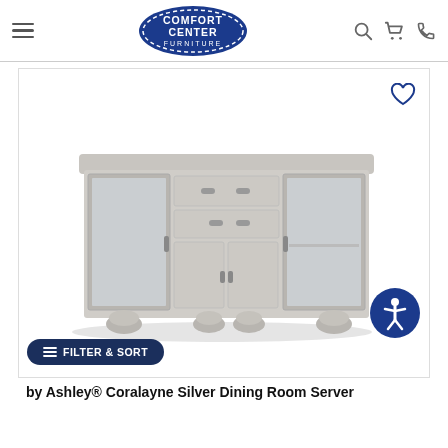Comfort Center Furniture — navigation header with logo, search, cart, and phone icons
[Figure (photo): Comfort Center Furniture website screenshot showing a silver dining room server (sideboard) by Ashley Coralayne. The server has glass-panel side doors, two center drawers, and two center cabinet doors, finished in silver/gray with bun feet. A heart/wishlist icon appears top-right, and an accessibility icon (circular blue button with person symbol) appears mid-right.]
by Ashley® Coralayne Silver Dining Room Server